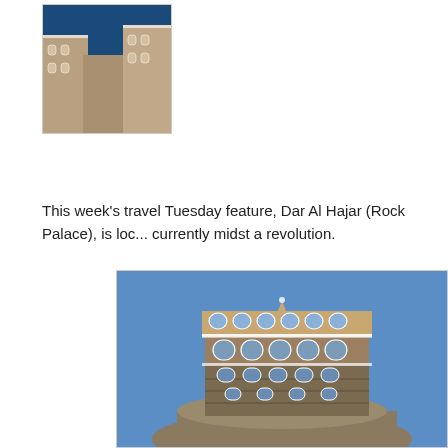[Figure (photo): Aerial/angled view of traditional Yemeni mud-brick tower buildings with decorative white geometric patterns, photographed against a deep blue sky]
This week's travel Tuesday feature, Dar Al Hajar (Rock Palace), is loc... currently midst a revolution.
[Figure (photo): Dar Al Hajar (Rock Palace) in Yemen — a multi-story traditional stone and mud-brick palace with ornate white decorative arched windows and geometric patterns, perched atop a large boulder against a clear blue sky]